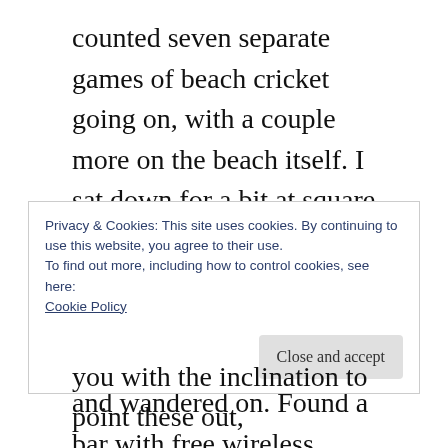counted seven separate games of beach cricket going on, with a couple more on the beach itself. I sat down for a bit at square leg, but none of the batsmen appeared too adept at flicking off their pads, and so I got bored and wandered on. Found a bar with free wireless, which was a bonus, so I sat there and typed for a bit before catching a tram home.
So, tomorrow it's goodbye to Melbourne, and later, goodbye to 2006. Have a great New Year's
Privacy & Cookies: This site uses cookies. By continuing to use this website, you agree to their use.
To find out more, including how to control cookies, see here:
Cookie Policy
Close and accept
you with the inclination to point these out,